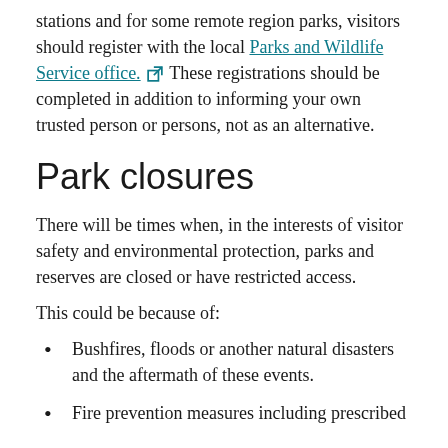Some of our parks and trails have self-registration stations and for some remote region parks, visitors should register with the local Parks and Wildlife Service office. These registrations should be completed in addition to informing your own trusted person or persons, not as an alternative.
Park closures
There will be times when, in the interests of visitor safety and environmental protection, parks and reserves are closed or have restricted access.
This could be because of:
Bushfires, floods or another natural disasters and the aftermath of these events.
Fire prevention measures including prescribed